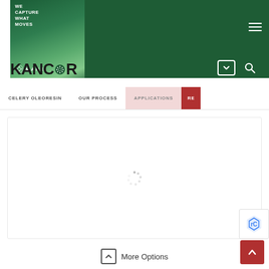[Figure (logo): Kancor by Mane logo with green banner. Top section shows green gradient background with white tagline 'WE CAPTURE WHAT MOVES' and Mane logo. Below is 'KANCOR' text with decorative circular dot element in the brand name.]
[Figure (screenshot): Navigation bar with dark green background showing hamburger menu icon top right, dropdown arrow button and search icon in lower right area of green bar.]
CELERY OLEORESIN   OUR PROCESS   APPLICATIONS   RE
[Figure (screenshot): Content area showing a loading spinner (rotating circle icon) centered in a white box with light border, indicating content is loading.]
[Figure (logo): reCAPTCHA badge icon in bottom right corner, showing blue Google reCAPTCHA logo.]
More Options